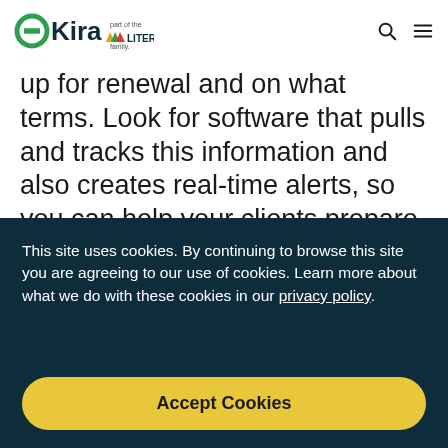OKira — part of the LITERA family.
up for renewal and on what terms. Look for software that pulls and tracks this information and also creates real-time alerts, so you can help your clients prepare for impending deadlines.
This site uses cookies. By continuing to browse this site you are agreeing to our use of cookies. Learn more about what we do with these cookies in our privacy policy.
Accept Cookies